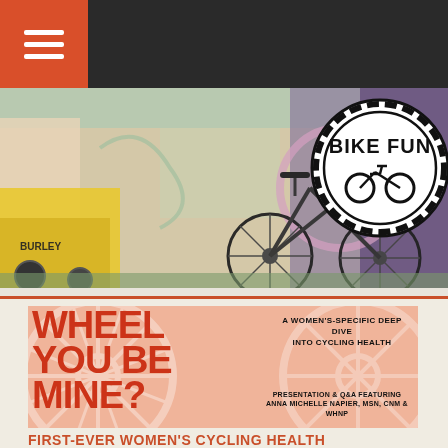Navigation bar with hamburger menu
[Figure (photo): Banner photograph showing a bicycle with a yellow cargo trailer parked in front of a colorful graffiti mural wall, with a Bike Fun circular logo badge overlaid in the top right]
[Figure (infographic): Promotional card with salmon/peach background and bicycle wheel watermark showing large red bold text 'WHEEL YOU BE MINE?' with subtitle 'A WOMEN'S-SPECIFIC DEEP DIVE INTO CYCLING HEALTH' and 'PRESENTATION & Q&A FEATURING ANNA MICHELLE NAPIER, MSN, CNM & WHNP']
FIRST-EVER WOMEN'S CYCLING HEALTH